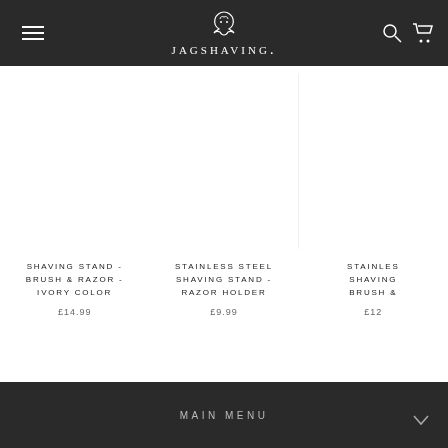JAGSHAVING.
SHAVING STAND - BRUSH & RAZOR - IVORY COLOR
£14.99
STAINLESS STEEL SHAVING STAND - RAZOR HOLDER
£9.99
STAINLESS SHAVING BRUSH &
£12
MAIN MENU